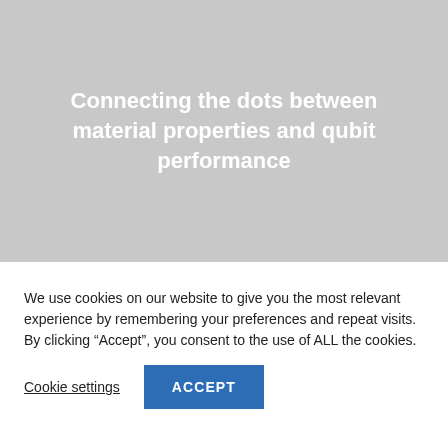[Figure (illustration): Gray hero image background with centered white bold title text reading 'Connecting the dots between material properties and qubit performance']
Connecting the dots between material properties and qubit performance
We use cookies on our website to give you the most relevant experience by remembering your preferences and repeat visits. By clicking “Accept”, you consent to the use of ALL the cookies.